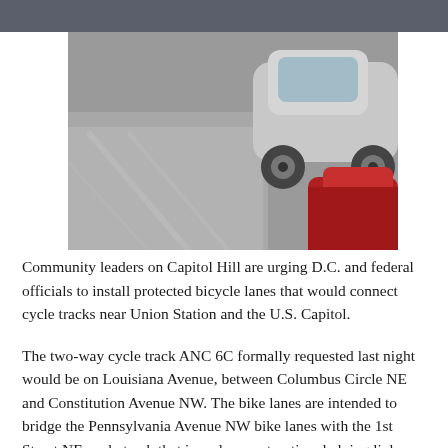[Figure (photo): Street-level photo showing road pavement and cars, including a silver car and a red car, taken from a low angle on a city street.]
Community leaders on Capitol Hill are urging D.C. and federal officials to install protected bicycle lanes that would connect cycle tracks near Union Station and the U.S. Capitol.
The two-way cycle track ANC 6C formally requested last night would be on Louisiana Avenue, between Columbus Circle NE and Constitution Avenue NW. The bike lanes are intended to bridge the Pennsylvania Avenue NW bike lanes with the 1st Street NE cycle track that is under construction, helping link bike lanes that stretch across the District.
“Right now, it’s a dangerous stretch of roadway for